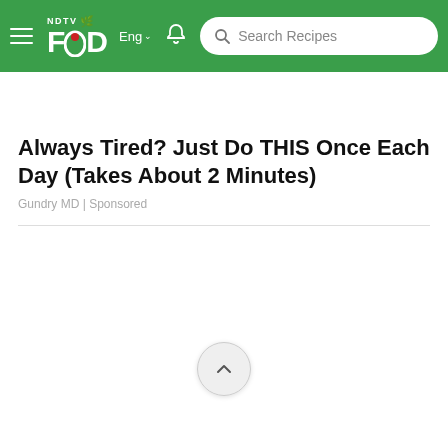NDTV FOOD — Eng | Search Recipes
Always Tired? Just Do THIS Once Each Day (Takes About 2 Minutes)
Gundry MD | Sponsored
[Figure (other): Back to top arrow button, circular light gray button with upward chevron arrow]